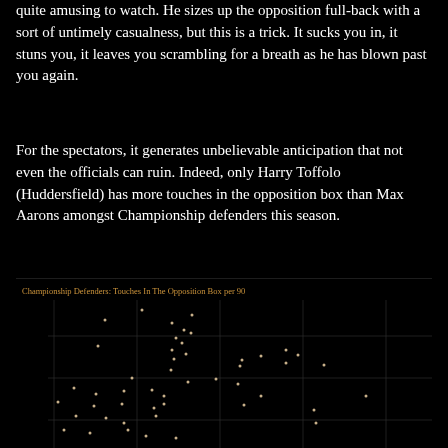quite amusing to watch. He sizes up the opposition full-back with a sort of untimely casualness, but this is a trick. It sucks you in, it stuns you, it leaves you scrambling for a breath as he has blown past you again.
For the spectators, it generates unbelievable anticipation that not even the officials can ruin. Indeed, only Harry Toffolo (Huddersfield) has more touches in the opposition box than Max Aarons amongst Championship defenders this season.
[Figure (continuous-plot): Scatter plot with dense cloud of data points on a dark background, showing Championship Defenders touches in the opposition box per 90 minutes. Multiple data points scattered across the chart area with vertical and horizontal gridlines visible.]